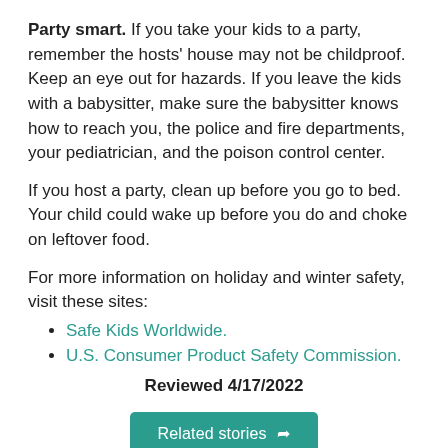Party smart. If you take your kids to a party, remember the hosts' house may not be childproof. Keep an eye out for hazards. If you leave the kids with a babysitter, make sure the babysitter knows how to reach you, the police and fire departments, your pediatrician, and the poison control center.
If you host a party, clean up before you go to bed. Your child could wake up before you do and choke on leftover food.
For more information on holiday and winter safety, visit these sites:
Safe Kids Worldwide.
U.S. Consumer Product Safety Commission.
Reviewed 4/17/2022
[Figure (other): Teal button labeled 'Related stories' with a share/arrow icon]